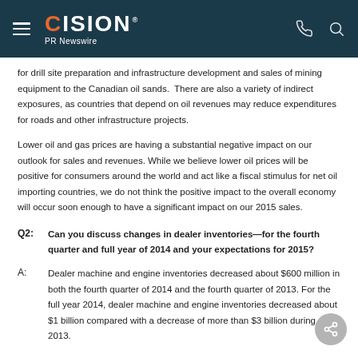CISION PR Newswire
for drill site preparation and infrastructure development and sales of mining equipment to the Canadian oil sands.  There are also a variety of indirect exposures, as countries that depend on oil revenues may reduce expenditures for roads and other infrastructure projects.
Lower oil and gas prices are having a substantial negative impact on our outlook for sales and revenues. While we believe lower oil prices will be positive for consumers around the world and act like a fiscal stimulus for net oil importing countries, we do not think the positive impact to the overall economy will occur soon enough to have a significant impact on our 2015 sales.
Q2: Can you discuss changes in dealer inventories—for the fourth quarter and full year of 2014 and your expectations for 2015?
A: Dealer machine and engine inventories decreased about $600 million in both the fourth quarter of 2014 and the fourth quarter of 2013. For the full year 2014, dealer machine and engine inventories decreased about $1 billion compared with a decrease of more than $3 billion during 2013.